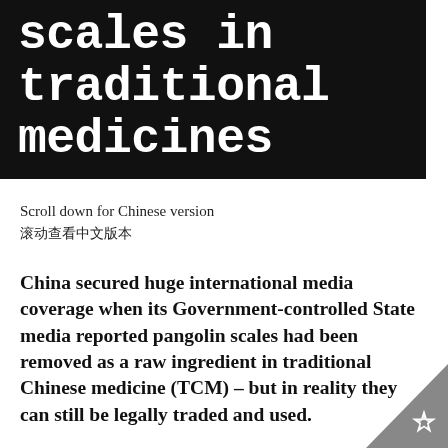scales in traditional medicines
Scroll down for Chinese version
滚动查看中文版本
China secured huge international media coverage when its Government-controlled State media reported pangolin scales had been removed as a raw ingredient in traditional Chinese medicine (TCM) – but in reality they can still be legally traded and used.
The story that pangolin was dropped from the official TCM pharmacopoeia, a compendium of approved traditional and Western medicines, was widely interpreted as a 'ban' on pangolin scales.